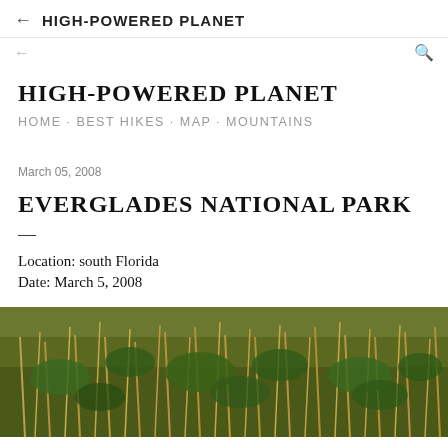← HIGH-POWERED PLANET
HIGH-POWERED PLANET
HOME · BEST HIKES · MAP · MOUNTAINS
March 05, 2008
EVERGLADES NATIONAL PARK
—
Location: south Florida
Date: March 5, 2008
[Figure (photo): Photograph of dense vegetation, dry grasses and green leafy plants in the Everglades National Park, south Florida]